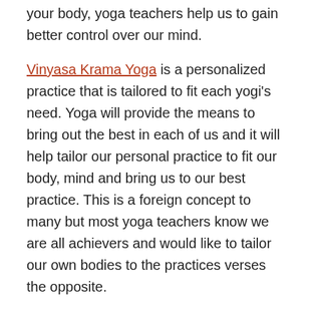your body, yoga teachers help us to gain better control over our mind.
Vinyasa Krama Yoga is a personalized practice that is tailored to fit each yogi's need. Yoga will provide the means to bring out the best in each of us and it will help tailor our personal practice to fit our body, mind and bring us to our best practice. This is a foreign concept to many but most yoga teachers know we are all achievers and would like to tailor our own bodies to the practices verses the opposite.
This type of approach to yoga adapts the different means and methods of practice to the unique condition, needs and interests of each individual which gives each person the tools to personalize and actualize the process of self discovery and personal transformation.
Through yoga teacher training and regular yoga practice